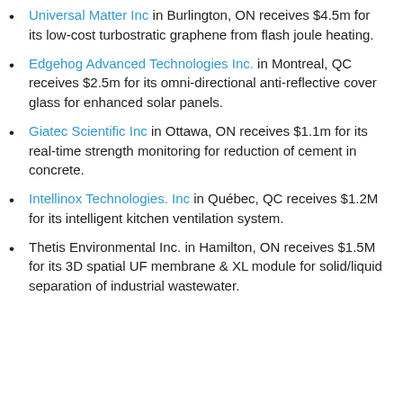Universal Matter Inc in Burlington, ON receives $4.5m for its low-cost turbostratic graphene from flash joule heating.
Edgehog Advanced Technologies Inc. in Montreal, QC receives $2.5m for its omni-directional anti-reflective cover glass for enhanced solar panels.
Giatec Scientific Inc in Ottawa, ON receives $1.1m for its real-time strength monitoring for reduction of cement in concrete.
Intellinox Technologies. Inc in Québec, QC receives $1.2M for its intelligent kitchen ventilation system.
Thetis Environmental Inc. in Hamilton, ON receives $1.5M for its 3D spatial UF membrane & XL module for solid/liquid separation of industrial wastewater.